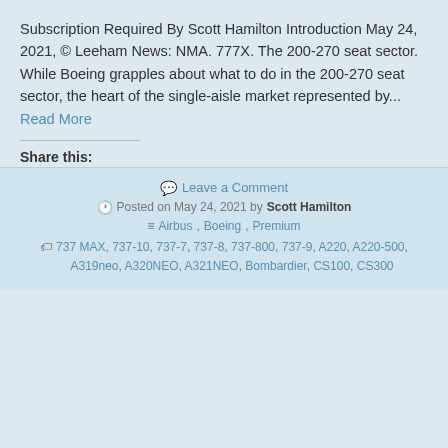Subscription Required By Scott Hamilton Introduction May 24, 2021, © Leeham News: NMA. 777X. The 200-270 seat sector. While Boeing grapples about what to do in the 200-270 seat sector, the heart of the single-aisle market represented by... Read More
Share this:
Share buttons: Print, Email, Twitter, Pinterest, Facebook, WhatsApp, LinkedIn, Tumblr, Reddit, Skype
Leave a Comment
Posted on May 24, 2021 by Scott Hamilton
Airbus, Boeing, Premium
737 MAX, 737-10, 737-7, 737-8, 737-800, 737-9, A220, A220-500, A319neo, A320NEO, A321NEO, Bombardier, CS100, CS300